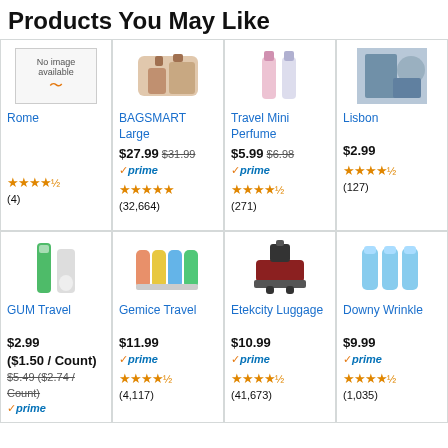Products You May Like
[Figure (screenshot): Product card: Rome, no image available, 4.5 stars (4 reviews)]
[Figure (screenshot): Product card: BAGSMART Large, $27.99 (was $31.99), Prime, 5 stars (32,664 reviews)]
[Figure (screenshot): Product card: Travel Mini Perfume, $5.99 (was $6.98), Prime, 4.5 stars (271 reviews)]
[Figure (screenshot): Product card: Lisbon, $2.99, 4.5 stars (127 reviews)]
[Figure (screenshot): Product card: GUM Travel, $2.99 ($1.50/Count), was $5.49 ($2.74/Count), Prime]
[Figure (screenshot): Product card: Gemice Travel, $11.99, Prime, 4.5 stars (4,117 reviews)]
[Figure (screenshot): Product card: Etekcity Luggage, $10.99, Prime, 4.5 stars (41,673 reviews)]
[Figure (screenshot): Product card: Downy Wrinkle, $9.99, Prime, 4.5 stars (1,035 reviews)]